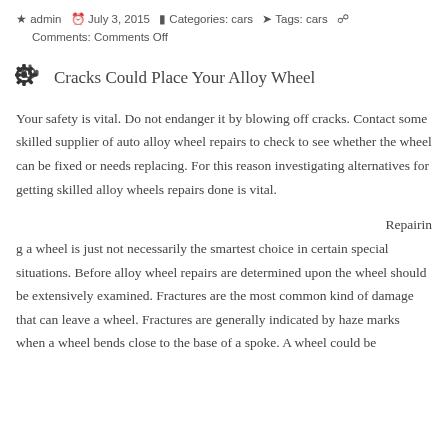admin  July 3, 2015  Categories: cars  Tags: cars  Comments: Comments Off
Cracks Could Place Your Alloy Wheel
Your safety is vital. Do not endanger it by blowing off cracks. Contact some skilled supplier of auto alloy wheel repairs to check to see whether the wheel can be fixed or needs replacing. For this reason investigating alternatives for getting skilled alloy wheels repairs done is vital.
Repairing a wheel is just not necessarily the smartest choice in certain special situations. Before alloy wheel repairs are determined upon the wheel should be extensively examined. Fractures are the most common kind of damage that can leave a wheel. Fractures are generally indicated by haze marks when a wheel bends close to the base of a spoke. A wheel could be